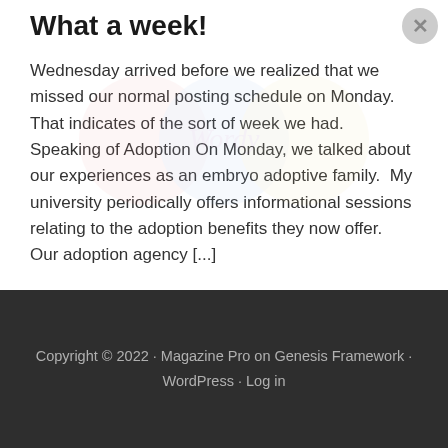What a week!
Wednesday arrived before we realized that we missed our normal posting schedule on Monday.  That indicates of the sort of week we had. Speaking of Adoption On Monday, we talked about our experiences as an embryo adoptive family.  My university periodically offers informational sessions relating to the adoption benefits they now offer.  Our adoption agency [...]
Copyright © 2022 · Magazine Pro on Genesis Framework · WordPress · Log in